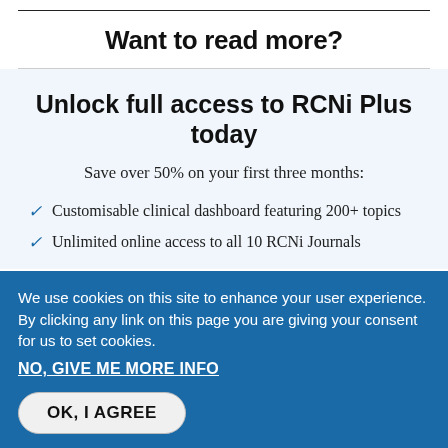Want to read more?
Unlock full access to RCNi Plus today
Save over 50% on your first three months:
Customisable clinical dashboard featuring 200+ topics
Unlimited online access to all 10 RCNi Journals
We use cookies on this site to enhance your user experience. By clicking any link on this page you are giving your consent for us to set cookies.
NO, GIVE ME MORE INFO
OK, I AGREE